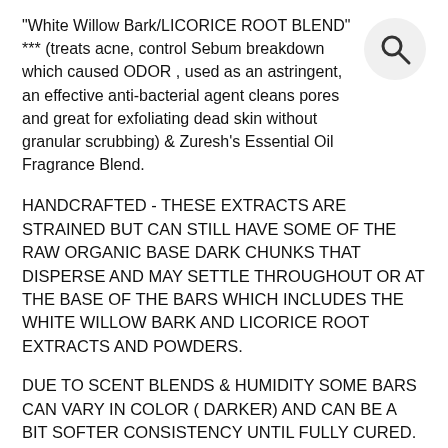"White Willow Bark/LICORICE ROOT BLEND" *** (treats acne, control Sebum breakdown which caused ODOR , used as an astringent, an effective anti-bacterial agent cleans pores and great for exfoliating dead skin without granular scrubbing) & Zuresh's Essential Oil Fragrance Blend.
[Figure (illustration): Search icon — circular magnifying glass symbol on a light gray circle background, top-right corner]
HANDCRAFTED - THESE EXTRACTS ARE STRAINED BUT CAN STILL HAVE SOME OF THE RAW ORGANIC BASE DARK CHUNKS THAT DISPERSE AND MAY SETTLE THROUGHOUT OR AT THE BASE OF THE BARS WHICH INCLUDES THE WHITE WILLOW BARK AND LICORICE ROOT EXTRACTS AND POWDERS.
DUE TO SCENT BLENDS & HUMIDITY SOME BARS CAN VARY IN COLOR ( DARKER) AND CAN BE A BIT SOFTER CONSISTENCY UNTIL FULLY CURED. YOU CAN REFRIDGERATEFOR 10-15 MINUTES TO SPEED UP THIS PROCESS **